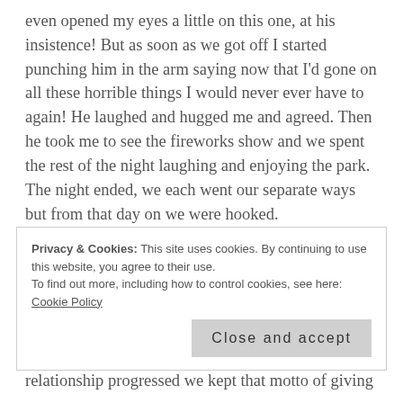even opened my eyes a little on this one, at his insistence! But as soon as we got off I started punching him in the arm saying now that I'd gone on all these horrible things I would never ever have to again! He laughed and hugged me and agreed. Then he took me to see the fireworks show and we spent the rest of the night laughing and enjoying the park. The night ended, we each went our separate ways but from that day on we were hooked.
Privacy & Cookies: This site uses cookies. By continuing to use this website, you agree to their use. To find out more, including how to control cookies, see here: Cookie Policy
Close and accept
relationship progressed we kept that motto of giving